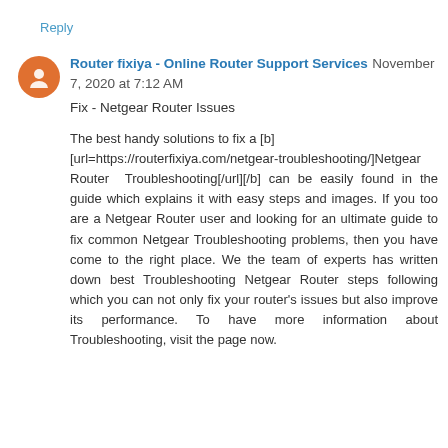Reply
Router fixiya - Online Router Support Services  November 7, 2020 at 7:12 AM
Fix - Netgear Router Issues
The best handy solutions to fix a [b][url=https://routerfixiya.com/netgear-troubleshooting/]Netgear Router Troubleshooting[/url][/b] can be easily found in the guide which explains it with easy steps and images. If you too are a Netgear Router user and looking for an ultimate guide to fix common Netgear Troubleshooting problems, then you have come to the right place. We the team of experts has written down best Troubleshooting Netgear Router steps following which you can not only fix your router's issues but also improve its performance. To have more information about Troubleshooting, visit the page now.